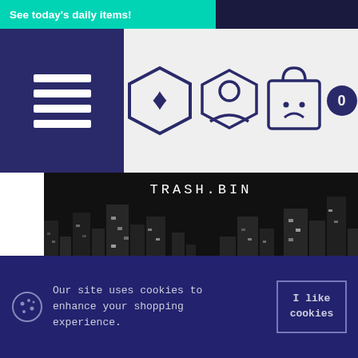See today's daily items!
[Figure (screenshot): Navigation bar with hamburger menu, TRASH.BIN logo (hexagonal badge with bird icon), user account icon, shopping bag icon with sad face, and cart count 0]
[Figure (photo): Black and white pixel-art style city skyline banner with TRASH.BIN text centered at top]
TRASH.BIN ♥ WAVE 3 LAUNCH
October 17, 2019
We're so excited to debut the TRASH.BIN WAVE 3 Collection. ♥TRASH.BIN is a clothing & accessories brand inspired ...
Our site uses cookies to enhance your shopping experience.
I like cookies